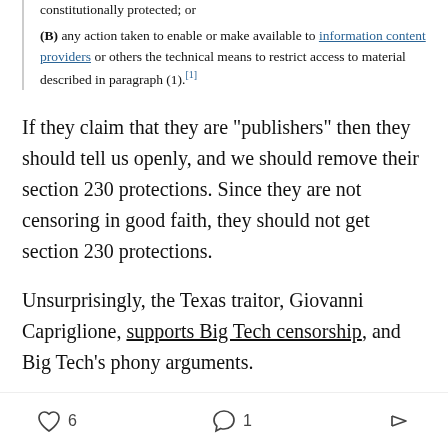constitutionally protected; or
(B) any action taken to enable or make available to information content providers or others the technical means to restrict access to material described in paragraph (1).[1]
If they claim that they are “publishers” then they should tell us openly, and we should remove their section 230 protections. Since they are not censoring in good faith, they should not get section 230 protections.
Unsurprisingly, the Texas traitor, Giovanni Capriglione, supports Big Tech censorship, and Big Tech’s phony arguments.
San Antonio Express News:
The problem with regulating social media
6  1